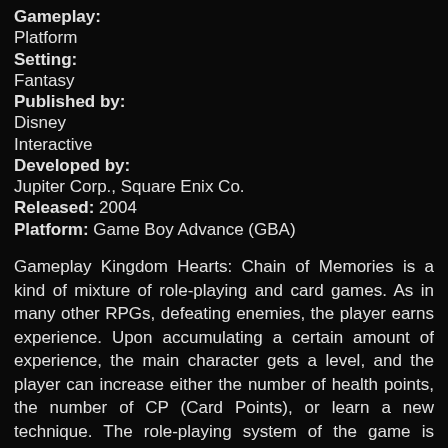Gameplay: Platform
Setting: Fantasy
Published by: Disney Interactive
Developed by: Jupiter Corp., Square Enix Co.
Released: 2004
Platform: Game Boy Advance (GBA)
Gameplay Kingdom Hearts: Chain of Memories is a kind of mixture of role-playing and card games. As in many other RPGs, defeating enemies, the player earns experience. Upon accumulating a certain amount of experience, the main character gets a level, and the player can increase either the number of health points, the number of CP (Card Points), or learn a new technique. The role-playing system of the game is based on cards. Cards are used both during the battle and outside it. Battles take place on a separate battlefield. Outside of battle, the player travels through isometrically